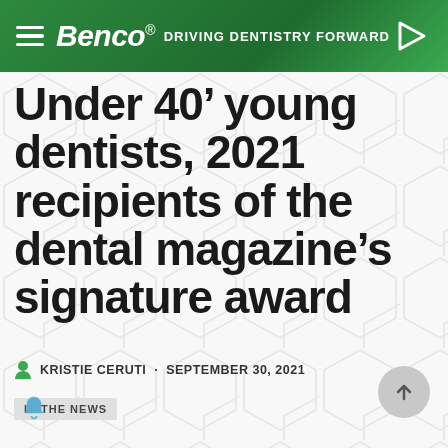Benco® — DRIVING DENTISTRY FORWARD
Under 40' young dentists, 2021 recipients of the dental magazine's signature award
KRISTIE CERUTI · SEPTEMBER 30, 2021
IN THE NEWS